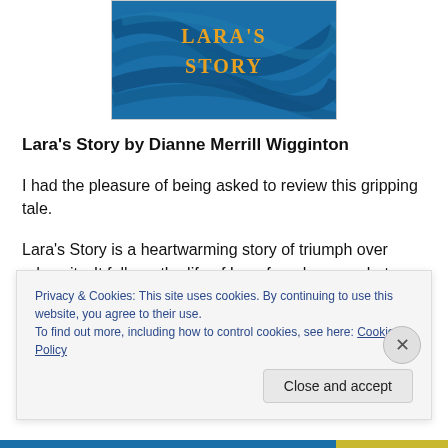[Figure (illustration): Book cover for 'Lara's Story' showing the title text in orange/gold on a blue swirling background]
Lara's Story by Dianne Merrill Wigginton
I had the pleasure of being asked to review this gripping tale.
Lara's Story is a heartwarming story of triumph over adversity. It follows the life of Lara from her poor but happy
Privacy & Cookies: This site uses cookies. By continuing to use this website, you agree to their use.
To find out more, including how to control cookies, see here: Cookie Policy
Close and accept